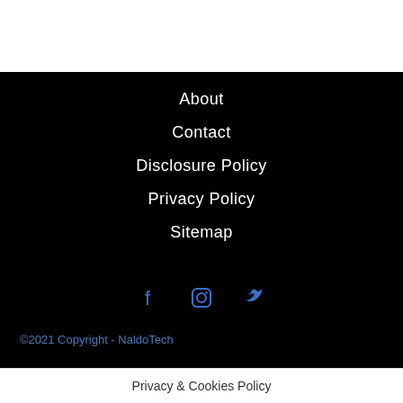About
Contact
Disclosure Policy
Privacy Policy
Sitemap
[Figure (other): Social media icons: Facebook, Instagram, Twitter in blue on black background]
©2021 Copyright - NaldoTech
Privacy & Cookies Policy